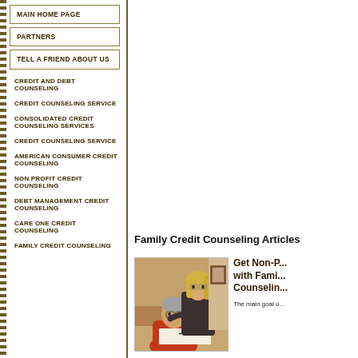MAIN HOME PAGE
PARTNERS
TELL A FRIEND ABOUT US
CREDIT AND DEBT COUNSELING
CREDIT COUNSELING SERVICE
CONSOLIDATED CREDIT COUNSELING SERVICES
CREDIT COUNSELING SERVICE
AMERICAN CONSUMER CREDIT COUNSELING
NON PROFIT CREDIT COUNSELING
DEBT MANAGEMENT CREDIT COUNSELING
CARE ONE CREDIT COUNSELING
FAMILY CREDIT COUNSELING
Family Credit Counseling Articles
[Figure (photo): Photo of a middle-aged couple, man in red shirt sitting at a desk writing, woman standing behind him with her hand on his shoulder]
Get Non-P... with Fami... Counselin...
The main goal o...